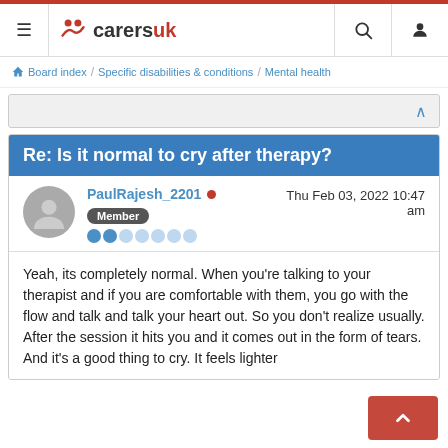CarersUK — navigation header with hamburger menu, logo, search, and user icons
Board index / Specific disabilities & conditions / Mental health
Re: Is it normal to cry after therapy?
PaulRajesh_2201 • Thu Feb 03, 2022 10:47 am — Member
Yeah, its completely normal. When you're talking to your therapist and if you are comfortable with them, you go with the flow and talk and talk your heart out. So you don't realize usually. After the session it hits you and it comes out in the form of tears. And it's a good thing to cry. It feels lighter